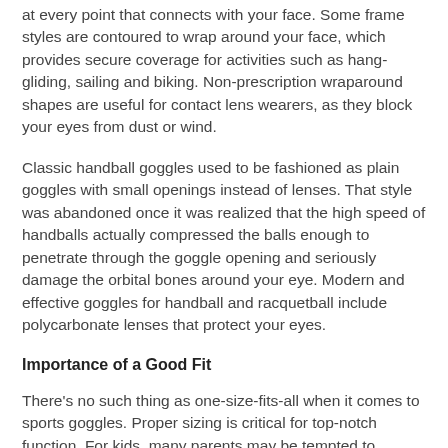at every point that connects with your face. Some frame styles are contoured to wrap around your face, which provides secure coverage for activities such as hang-gliding, sailing and biking. Non-prescription wraparound shapes are useful for contact lens wearers, as they block your eyes from dust or wind.
Classic handball goggles used to be fashioned as plain goggles with small openings instead of lenses. That style was abandoned once it was realized that the high speed of handballs actually compressed the balls enough to penetrate through the goggle opening and seriously damage the orbital bones around your eye. Modern and effective goggles for handball and racquetball include polycarbonate lenses that protect your eyes.
Importance of a Good Fit
There's no such thing as one-size-fits-all when it comes to sports goggles. Proper sizing is critical for top-notch function. For kids, many parents may be tempted to purchase larger goggles so that they'll be long-lasting with room to grow. Yet if the frames are truly oversized, they won't protect the child's eyes adequately. Impact